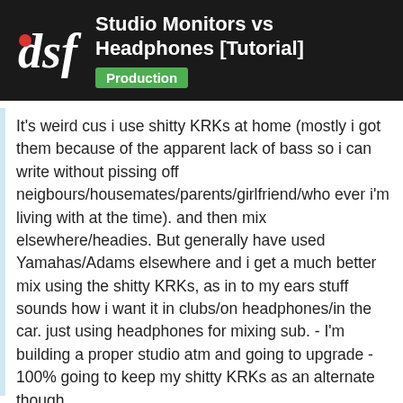Studio Monitors vs Headphones [Tutorial] — Production
It's weird cus i use shitty KRKs at home (mostly i got them because of the apparent lack of bass so i can write without pissing off neigbours/housemates/parents/girlfriend/who ever i'm living with at the time). and then mix elsewhere/headies. But generally have used Yamahas/Adams elsewhere and i get a much better mix using the shitty KRKs, as in to my ears stuff sounds how i want it in clubs/on headphones/in the car. just using headphones for mixing sub. - I'm building a proper studio atm and going to upgrade - 100% going to keep my shitty KRKs as an alternate though.
20 / 30